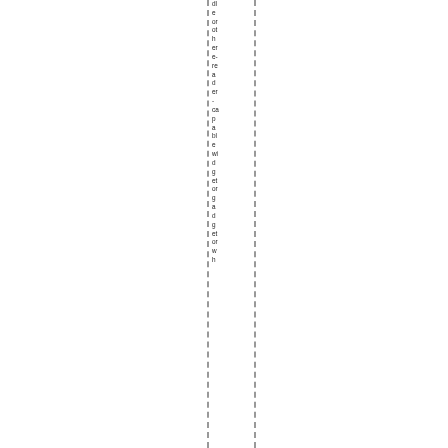dl e or ot h er e- re a d er - ca p a bl e wi d g et or g a d g et or w h